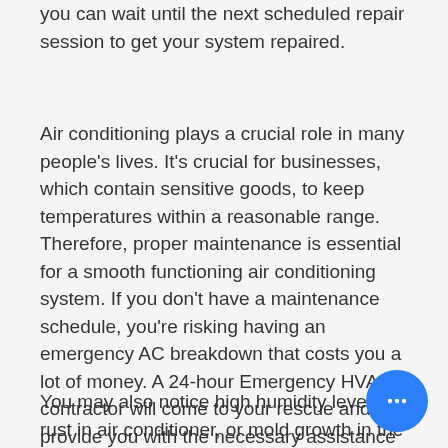you can wait until the next scheduled repair session to get your system repaired.
Air conditioning plays a crucial role in many people's lives. It's crucial for businesses, which contain sensitive goods, to keep temperatures within a reasonable range. Therefore, proper maintenance is essential for a smooth functioning air conditioning system. If you don't have a maintenance schedule, you're risking having an emergency AC breakdown that costs you a lot of money. A 24-hour Emergency HVAC contractor will come to your rescue and provide you with the necessary assistance so that you can resume your normal activities without further complications.
You may also notice high humidity levels, rust in air conditioner, or mold growth in the air